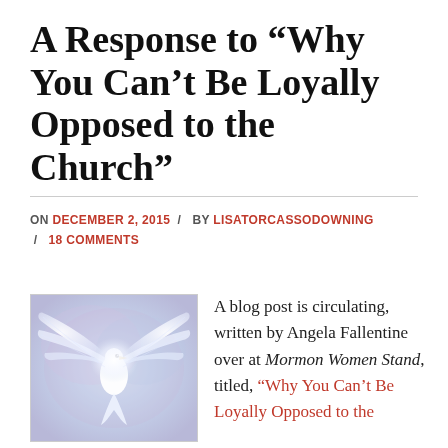A Response to “Why You Can’t Be Loyally Opposed to the Church”
ON DECEMBER 2, 2015 / BY LISATORCASSODOWNING / 18 COMMENTS
[Figure (illustration): A white dove with wings spread against a soft purple and blue background, painting/illustration style]
A blog post is circulating, written by Angela Fallentine over at Mormon Women Stand, titled, “Why You Can’t Be Loyally Opposed to the